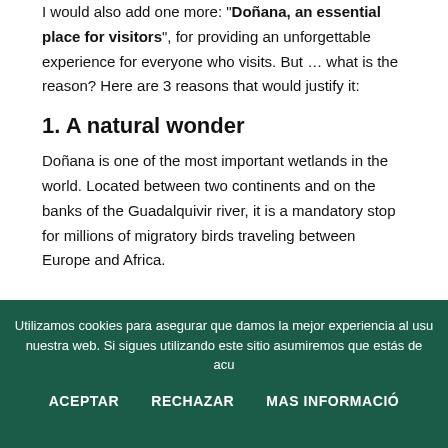I would also add one more: "Doñana, an essential place for visitors", for providing an unforgettable experience for everyone who visits. But … what is the reason? Here are 3 reasons that would justify it:
1. A natural wonder
Doñana is one of the most important wetlands in the world. Located between two continents and on the banks of the Guadalquivir river, it is a mandatory stop for millions of migratory birds traveling between Europe and Africa.
Utilizamos cookies para asegurar que damos la mejor experiencia al usu... nuestra web. Si sigues utilizando este sitio asumiremos que estás de acu... ACEPTAR   RECHAZAR   MAS INFORMACIÓN